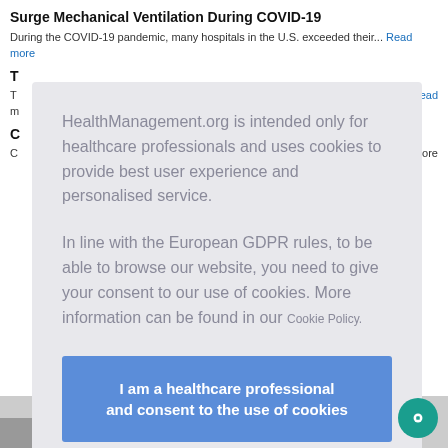Surge Mechanical Ventilation During COVID-19
During the COVID-19 pandemic, many hospitals in the U.S. exceeded their... Read more
T...
T... Read more
C...
C... d more
HealthManagement.org is intended only for healthcare professionals and uses cookies to provide best user experience and personalised service.

In line with the European GDPR rules, to be able to browse our website, you need to give your consent to our use of cookies. More information can be found in our Cookie Policy.
I am a healthcare professional and consent to the use of cookies